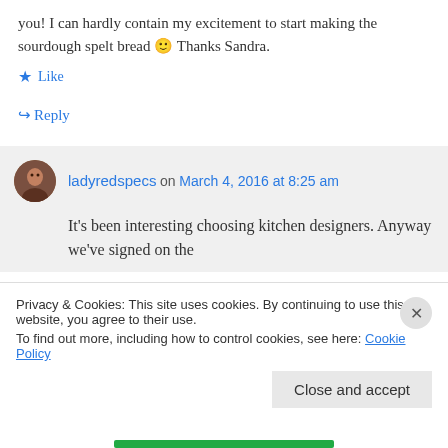you! I can hardly contain my excitement to start making the sourdough spelt bread 🙂 Thanks Sandra.
★ Like
↪ Reply
ladyredspecs on March 4, 2016 at 8:25 am
It's been interesting choosing kitchen designers. Anyway we've signed on the
Privacy & Cookies: This site uses cookies. By continuing to use this website, you agree to their use.
To find out more, including how to control cookies, see here: Cookie Policy
Close and accept